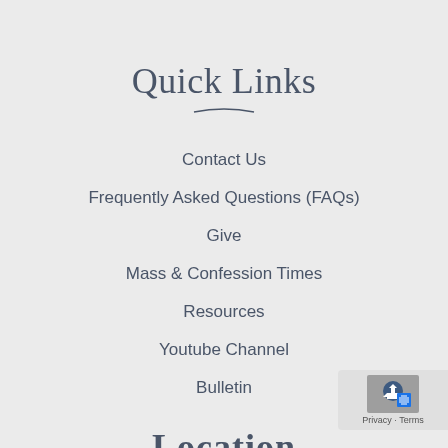Quick Links
Contact Us
Frequently Asked Questions (FAQs)
Give
Mass & Confession Times
Resources
Youtube Channel
Bulletin
Location